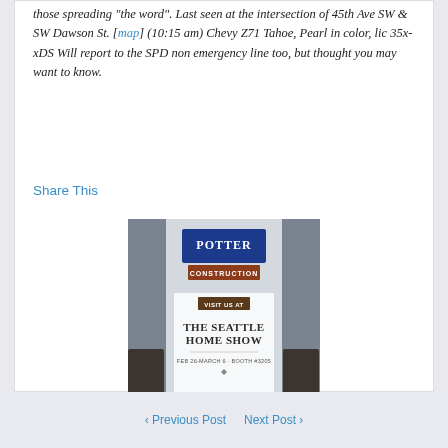those spreading "the word". Last seen at the intersection of 45th Ave SW & SW Dawson St. [map] (10:15 am) Chevy Z71 Tahoe, Pearl in color, lic 35x-xDS Will report to the SPD non emergency line too, but thought you may want to know.
Share This
[Figure (advertisement): Potter Construction advertisement for The Seattle Home Show, Feb 26-March 6, Booth #3205]
‹ Previous Post   Next Post ›